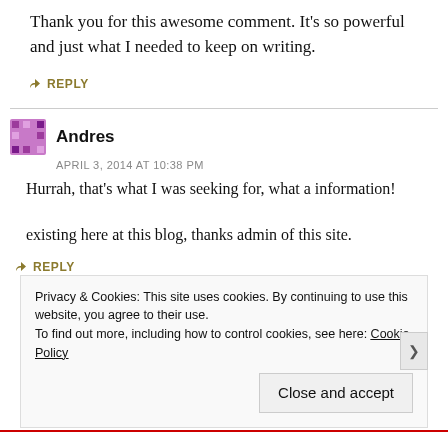Thank you for this awesome comment. It's so powerful and just what I needed to keep on writing.
↳ REPLY
Andres
APRIL 3, 2014 AT 10:38 PM
Hurrah, that's what I was seeking for, what a information!

existing here at this blog, thanks admin of this site.
↳ REPLY
Privacy & Cookies: This site uses cookies. By continuing to use this website, you agree to their use.
To find out more, including how to control cookies, see here: Cookie Policy
Close and accept